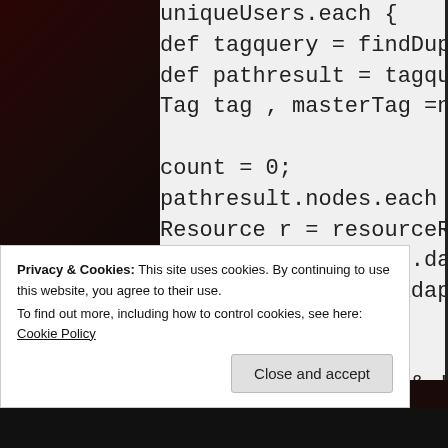[Figure (screenshot): Code editor/blog screenshot showing Groovy/Java code snippet with lines: uniqueUsers.each {, def tagquery = findDuplicateTags(tagLo, def pathresult = tagquery.execute(), Tag tag , masterTag =null;, (blank), count = 0;, pathresult.nodes.each {node->, Resource r = resourceResolver.getResou, tag = r.adaptTo(com.day.cq.tagging.Tag, Node tempNode = r.adaptTo(javax.jcr.No, if(count == 0 ){, masterTag = tag ;, }else if(tm!=null && !(tag.getPath()==, if(!tempNode.hasNodes()){, println 'Merging Tag :: ' + tag.getPat, mergecount++]
Privacy & Cookies: This site uses cookies. By continuing to use this website, you agree to their use.
To find out more, including how to control cookies, see here: Cookie Policy
Close and accept